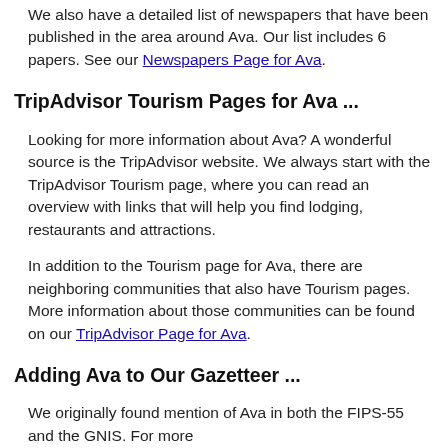We also have a detailed list of newspapers that have been published in the area around Ava. Our list includes 6 papers. See our Newspapers Page for Ava.
TripAdvisor Tourism Pages for Ava ...
Looking for more information about Ava? A wonderful source is the TripAdvisor website. We always start with the TripAdvisor Tourism page, where you can read an overview with links that will help you find lodging, restaurants and attractions.
In addition to the Tourism page for Ava, there are neighboring communities that also have Tourism pages. More information about those communities can be found on our TripAdvisor Page for Ava.
Adding Ava to Our Gazetteer ...
We originally found mention of Ava in both the FIPS-55 and the GNIS. For more